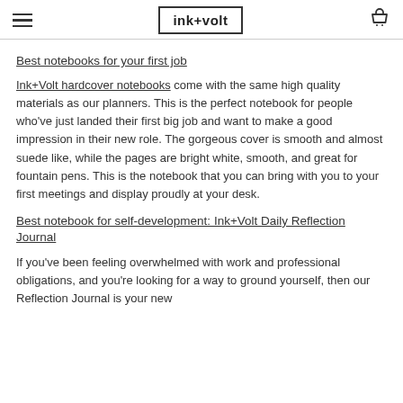ink+volt
Best notebooks for your first job
Ink+Volt hardcover notebooks come with the same high quality materials as our planners. This is the perfect notebook for people who've just landed their first big job and want to make a good impression in their new role. The gorgeous cover is smooth and almost suede like, while the pages are bright white, smooth, and great for fountain pens. This is the notebook that you can bring with you to your first meetings and display proudly at your desk.
Best notebook for self-development: Ink+Volt Daily Reflection Journal
If you've been feeling overwhelmed with work and professional obligations, and you're looking for a way to ground yourself, then our Reflection Journal is your new